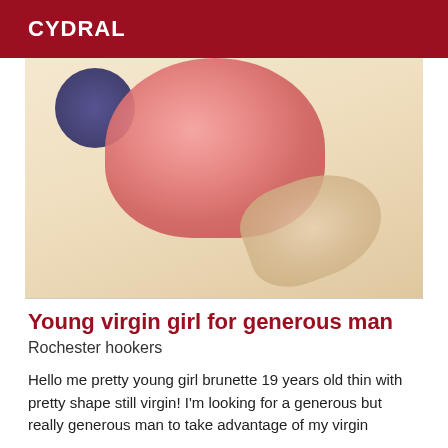CYDRAL
[Figure (photo): Close-up photo with flesh tones, dark blue/purple cluster in upper left, peach/pink tones in center, hand visible in lower right, on a light cream/yellow background]
Young virgin girl for generous man
Rochester hookers
Hello me pretty young girl brunette 19 years old thin with pretty shape still virgin! I'm looking for a generous but really generous man to take advantage of my virgin